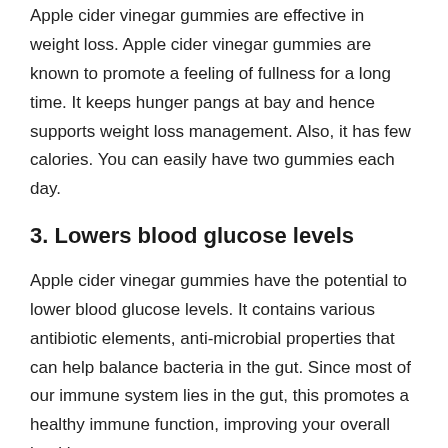Apple cider vinegar gummies are effective in weight loss. Apple cider vinegar gummies are known to promote a feeling of fullness for a long time. It keeps hunger pangs at bay and hence supports weight loss management. Also, it has few calories. You can easily have two gummies each day.
3. Lowers blood glucose levels
Apple cider vinegar gummies have the potential to lower blood glucose levels. It contains various antibiotic elements, anti-microbial properties that can help balance bacteria in the gut. Since most of our immune system lies in the gut, this promotes a healthy immune function, improving your overall health.
4. Tastes delicious